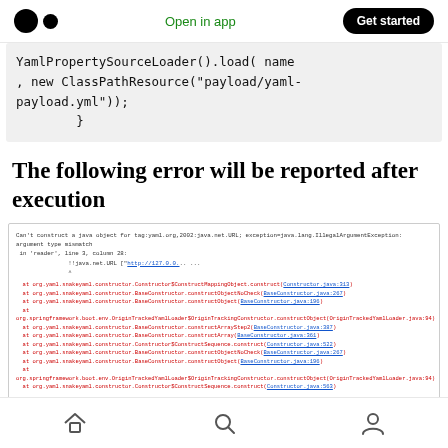Open in app | Get started
YamlPropertySourceLoader().load( name
, new ClassPathResource("payload/yaml-payload.yml"));
        }
The following error will be reported after execution
[Figure (screenshot): Error stack trace screenshot showing: Can't construct a java object for tag:yaml.org,2002:java.net.URL; exception=java.lang.IllegalArgumentException: argument type mismatch in 'reader', line 3, column 28: !!java.net.URL ["http://127.0.0...". Followed by multiple stack trace lines in red showing org.yaml.snakeyaml.constructor and org.springframework.boot.env.OriginTrackedYamlLoader entries.]
Home | Search | Profile